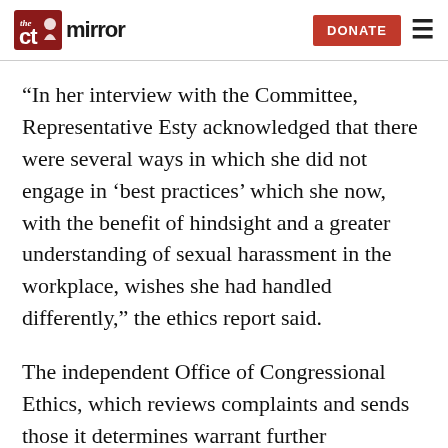The CT Mirror — DONATE
“In her interview with the Committee, Representative Esty acknowledged that there were several ways in which she did not engage in ‘best practices’ which she now, with the benefit of hindsight and a greater understanding of sexual harassment in the workplace, wishes she had handled differently,” the ethics report said.
The independent Office of Congressional Ethics, which reviews complaints and sends those it determines warrant further investigation to the Ethics Committee, found